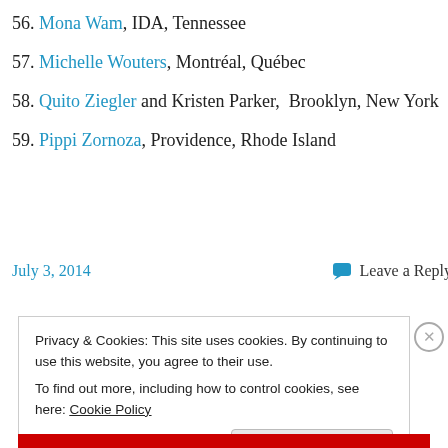56. Mona Wam, IDA, Tennessee
57. Michelle Wouters, Montréal, Québec
58. Quito Ziegler and Kristen Parker, Brooklyn, New York
59. Pippi Zornoza, Providence, Rhode Island
July 3, 2014   Leave a Reply
Privacy & Cookies: This site uses cookies. By continuing to use this website, you agree to their use. To find out more, including how to control cookies, see here: Cookie Policy